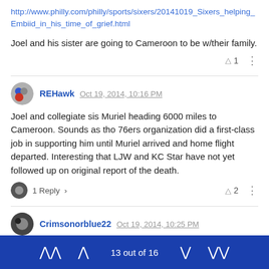http://www.philly.com/philly/sports/sixers/20141019_Sixers_helping_Embiid_in_his_time_of_grief.html
Joel and his sister are going to Cameroon to be w/their family.
REHawk  Oct 19, 2014, 10:16 PM
Joel and collegiate sis Muriel heading 6000 miles to Cameroon. Sounds as tho 76ers organization did a first-class job in supporting him until Muriel arrived and home flight departed. Interesting that LJW and KC Star have not yet followed up on original report of the death.
1 Reply
Crimsonorblue22  Oct 19, 2014, 10:25 PM
13 out of 16